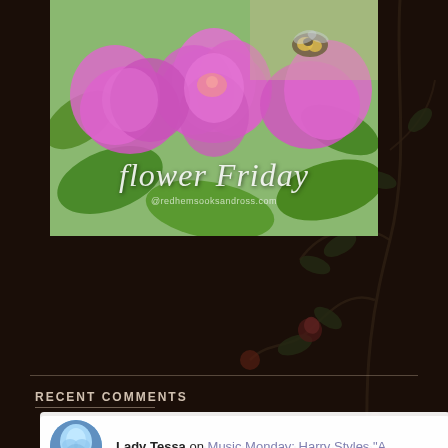[Figure (photo): Photo of pink rhododendron flowers with a bumblebee, overlaid with cursive text 'Flower Friday' and website URL '@redhemsooksandross.com']
RECENT COMMENTS
starjustin on Music Monday: Harry Styles "Ad...
Lady Tessa on Music Monday: Harry Styles "A...